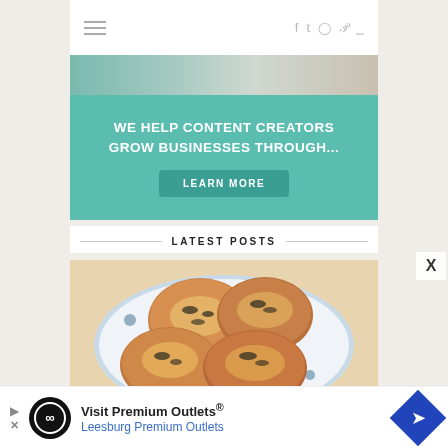navigation bar with hamburger menu and social icons: f, t (twitter), instagram, pinterest, rss
[Figure (photo): Teal advertisement banner: WE HELP CONTENT CREATORS GROW BUSINESSES THROUGH... with LEARN MORE button]
LATEST POSTS
[Figure (photo): Food photo showing baked rolls with herbs and cheese on a decorative blue and white floral plate]
Visit Premium Outlets® Leesburg Premium Outlets - bottom advertisement banner with logo and navigation arrow